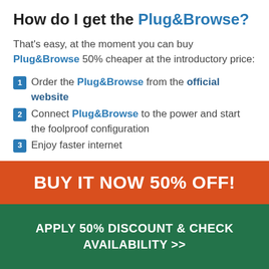How do I get the Plug&Browse?
That's easy, at the moment you can buy Plug&Browse 50% cheaper at the introductory price:
1 Order the Plug&Browse from the official website
2 Connect Plug&Browse to the power and start the foolproof configuration
3 Enjoy faster internet
It's that easy!
BUY IT NOW 50% OFF!
APPLY 50% DISCOUNT & CHECK AVAILABILITY >>